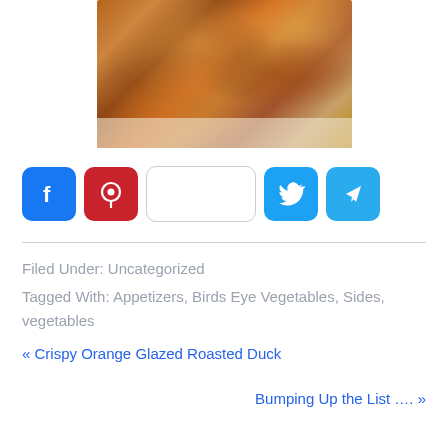[Figure (photo): Close-up photo of crispy roasted duck or chicken with golden-brown glazed skin on a white plate]
[Figure (infographic): Social media share buttons: Facebook (blue), Pinterest (red), Share button (white outlined), Twitter (blue), Telegram (blue)]
Filed Under: Uncategorized
Tagged With: Appetizers, Birds Eye Vegetables, Sides, vegetables
« Crispy Orange Glazed Roasted Duck
Bumping Up the List …. »